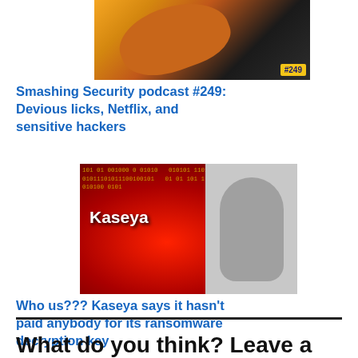[Figure (photo): Podcast thumbnail image for Smashing Security podcast #249 showing a person with orange top, with yellow border and #249 badge]
Smashing Security podcast #249: Devious licks, Netflix, and sensitive hackers
[Figure (photo): Image with Kaseya text on red background with binary code overlay and shocked woman in black and white on the right]
Who us??? Kaseya says it hasn't paid anybody for its ransomware decryption key
What do you think? Leave a